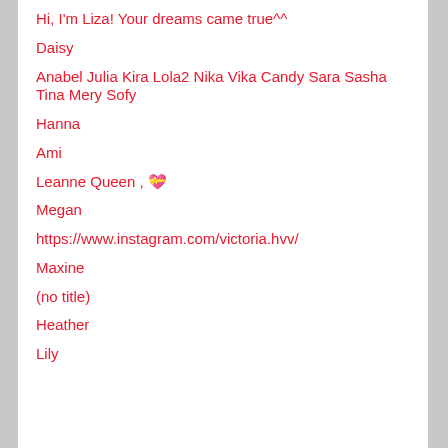Hi, I'm Liza! Your dreams came true^^
Daisy
Anabel Julia Kira Lola2 Nika Vika Candy Sara Sasha Tina Mery Sofy
Hanna
Ami
Leanne Queen , 💝
Megan
https://www.instagram.com/victoria.hvv/
Maxine
(no title)
Heather
Lily